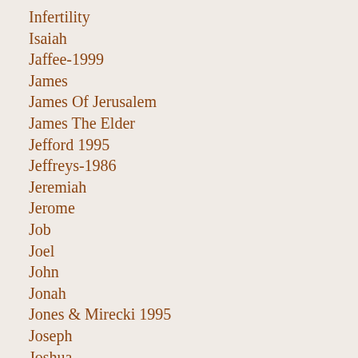Infertility
Isaiah
Jaffee-1999
James
James Of Jerusalem
James The Elder
Jefford 1995
Jeffreys-1986
Jeremiah
Jerome
Job
Joel
John
Jonah
Jones & Mirecki 1995
Joseph
Joshua
Jude
Judges